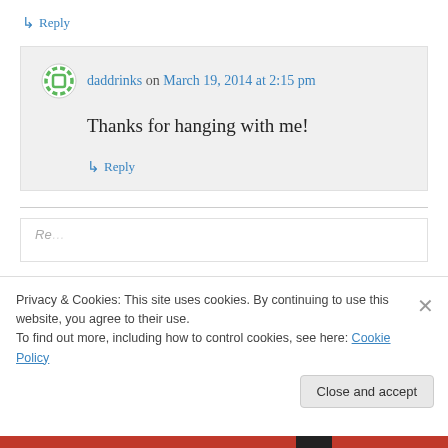↳ Reply
daddrinks on March 19, 2014 at 2:15 pm
Thanks for hanging with me!
↳ Reply
Privacy & Cookies: This site uses cookies. By continuing to use this website, you agree to their use. To find out more, including how to control cookies, see here: Cookie Policy
Close and accept